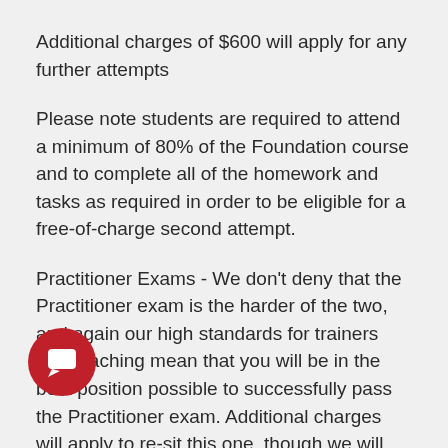Additional charges of $600 will apply for any further attempts
Please note students are required to attend a minimum of 80% of the Foundation course and to complete all of the homework and tasks as required in order to be eligible for a free-of-charge second attempt.
Practitioner Exams - We don't deny that the Practitioner exam is the harder of the two, and again our high standards for trainers and teaching mean that you will be in the best position possible to successfully pass the Practitioner exam. Additional charges will apply to re-sit this one, though we will happily arrange further coaching for at no charge.
Students are required to attend the entire Practitioner